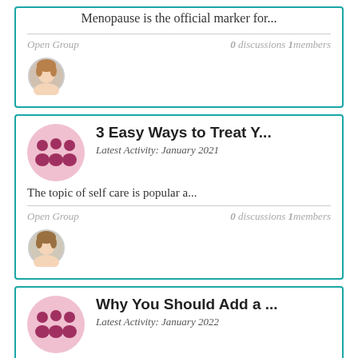Menopause is the official marker for...
Open Group   0 discussions  1members
[Figure (photo): Female avatar profile photo, circular crop]
3 Easy Ways to Treat Y...
Latest Activity: January 2021
The topic of self care is popular a...
Open Group   0 discussions  1members
[Figure (photo): Female avatar profile photo, circular crop]
Why You Should Add a ...
Latest Activity: January 2022